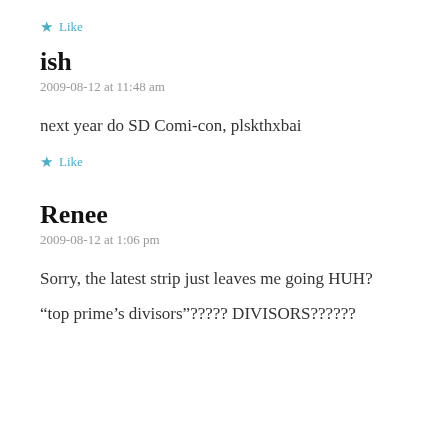★ Like
ish
2009-08-12 at 11:48 am
next year do SD Comi-con, plskthxbai
★ Like
Renee
2009-08-12 at 1:06 pm
Sorry, the latest strip just leaves me going HUH?
“top prime’s divisors”????? DIVISORS??????